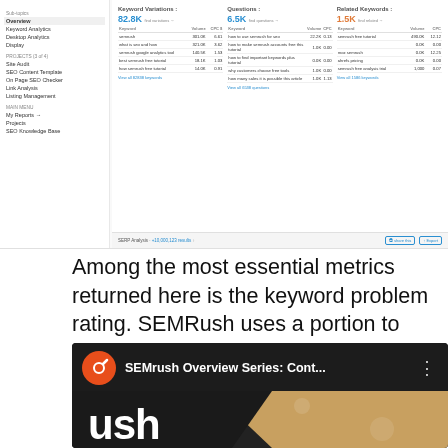[Figure (screenshot): SEMRush keyword analysis tool screenshot showing Keyword Variations (82.8K), Questions (6.5K), and Related Keywords (1.5K) panels with data tables and a left sidebar navigation]
Among the most essential metrics returned here is the keyword problem rating. SEMRush uses a portion to recommend this– with a greater portion showing that it's going to be harder to rank for a specific keyword.
[Figure (screenshot): Video thumbnail for SEMrush Overview Series: Cont... showing the SEMrush logo (orange circle with white comet icon) on a dark background with the text 'ush' visible in large white letters]